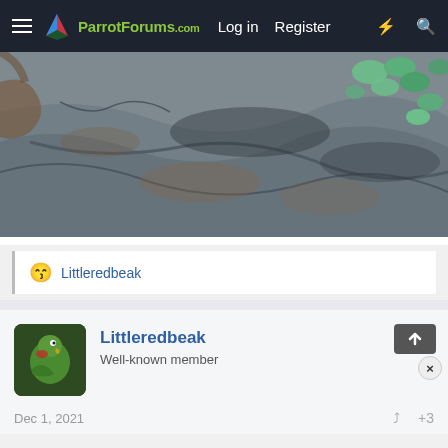ParrotForums.com  Log in  Register
[Figure (photo): Close-up photograph of a rough rocky stone surface with grey and brown tones, with small green succulent plant leaves visible in the upper right corner]
😙 Littleredbeak
Littleredbeak
Well-known member
Dec 1, 2021